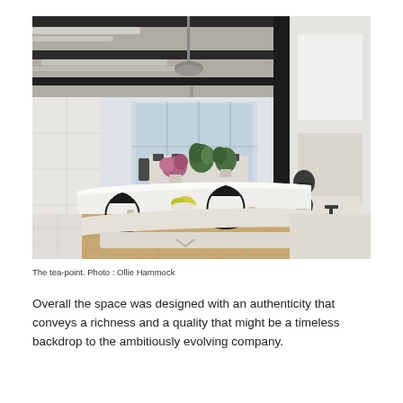[Figure (photo): Interior photo of a modern open-plan office tea-point area. Shows a white island counter with black bar stools, wooden floor, white storage cabinets on the left, exposed concrete ceiling with black beams and HVAC ducts, pendant lights, plants and flowers on the counter, and floor-to-ceiling windows in the background revealing a conference area. Right side shows a white wall with a window opening into another workspace.]
The tea-point. Photo : Ollie Hammock
Overall the space was designed with an authenticity that conveys a richness and a quality that might be a timeless backdrop to the ambitiously evolving company.